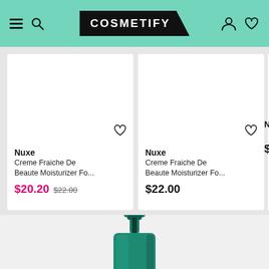[Figure (screenshot): Cosmetify website header with hamburger menu, search icon, Cosmetify logo, user account icon, and heart/wishlist icon on teal/mint green background]
[Figure (screenshot): Product card: Nuxe Creme Fraiche De Beaute Moisturizer Fo... Sale price $20.20, original price $22.00, with heart icon]
[Figure (screenshot): Product card: Nuxe Creme Fraiche De Beaute Moisturizer Fo... Price $22.00, with heart icon]
[Figure (screenshot): Partial third product card clipped at right edge, showing brand N and price $]
[Figure (photo): Green cosmetic bottle/pump dispenser shown from above, partially cropped at bottom of page]